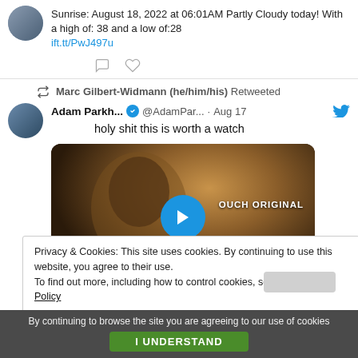Sunrise: August 18, 2022 at 06:01AM Partly Cloudy today! With a high of: 38 and a low of:28
ift.tt/PwJ497u
Marc Gilbert-Widmann (he/him/his) Retweeted
Adam Parkh... @AdamPar... · Aug 17
holy shit this is worth a watch
[Figure (screenshot): Video thumbnail showing a dark dramatic image of a man's face with a glowing effect, a blue play button in the center, and text 'OUCH ORIGINAL' and 'FREE SPEECH IS A' overlaid in yellow.]
Privacy & Cookies: This site uses cookies. By continuing to use this website, you agree to their use.
To find out more, including how to control cookies, see here: Cookie Policy
By continuing to browse the site you are agreeing to our use of cookies
I UNDERSTAND